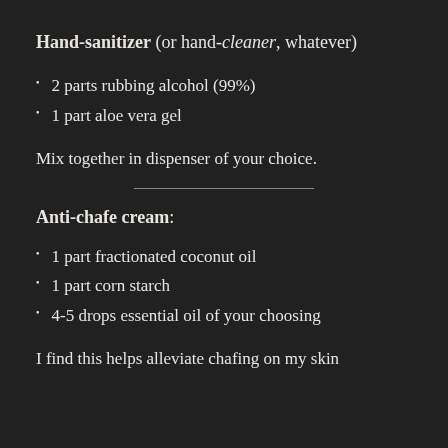Hand-sanitizer (or hand-cleaner, whatever)
2 parts rubbing alcohol (99%)
1 part aloe vera gel
Mix together in dispenser of your choice.
Anti-chafe cream:
1 part fractionated coconut oil
1 part corn starch
4-5 drops essential oil of your choosing
I find this helps alleviate chafing on my skin